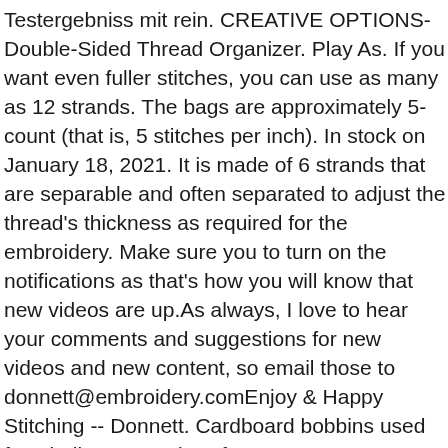Testergebniss mit rein. CREATIVE OPTIONS- Double-Sided Thread Organizer. Play As. If you want even fuller stitches, you can use as many as 12 strands. The bags are approximately 5-count (that is, 5 stitches per inch). In stock on January 18, 2021. It is made of 6 strands that are separable and often separated to adjust the thread's thickness as required for the embroidery. Make sure you to turn on the notifications as that's how you will know that new videos are up.As always, I love to hear your comments and suggestions for new videos and new content, so email those to donnett@embroidery.comEnjoy & Happy Stitching -- Donnett. Cardboard bobbins used for winding DMC Floss for easy storage. Most crazy quilt designs are ... Quick access from the wide, zip-close opening with a write-on area for color numbers. The patented design of the StitchBow Floss Holder maintains the original shape and fullness of the floss skein when storing it. Embroidery floss. Machine embroidery designs JLdizains. Its versatility makes it the go-to thread for many. Never run into that problem again-- get the Complete